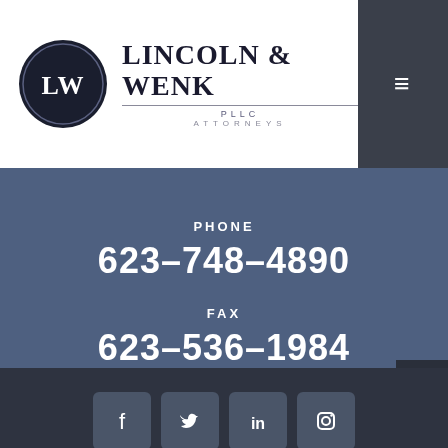[Figure (logo): Lincoln & Wenk PLLC Attorneys logo with LW monogram in a dark circle and firm name in serif uppercase letters]
PHONE
623-748-4890
FAX
623-536-1984
[Figure (illustration): Social media icons: Facebook, Twitter, LinkedIn, Instagram in dark blue rounded squares]
REVIEW OUR FIRM